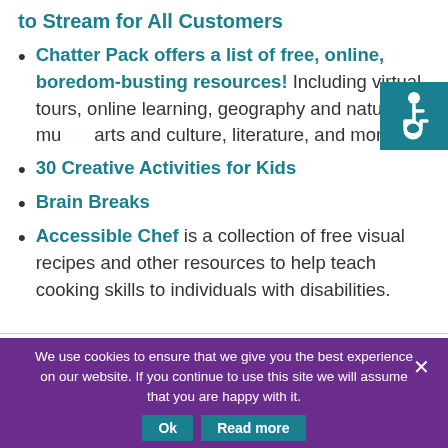to Stream for All Customers
Chatter Pack offers a list of free, online, boredom-busting resources! Including virtual tours, online learning, geography and nature, music, arts and culture, literature, and more!
30 Creative Activities for Kids
Brain Breaks
Accessible Chef is a collection of free visual recipes and other resources to help teach cooking skills to individuals with disabilities.
We use cookies to ensure that we give you the best experience on our website. If you continue to use this site we will assume that you are happy with it.